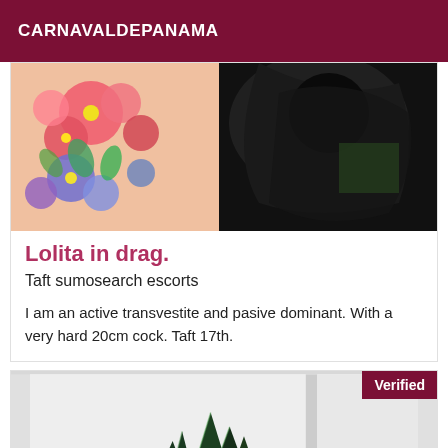CARNAVALDEPANAMA
[Figure (photo): Top portion of a listing card showing a colorful floral illustration on the left and a dark photograph on the right]
Lolita in drag.
Taft sumosearch escorts
I am an active transvestite and pasive dominant. With a very hard 20cm cock. Taft 17th.
[Figure (photo): Second listing card with a Verified badge in the top right corner, showing a white wall interior and a dark spiky plant illustration at the bottom center]